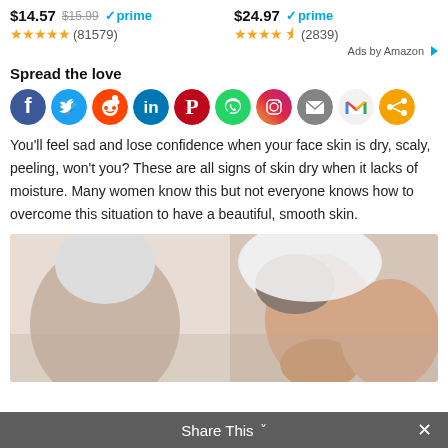$14.57 $15.99 ✓prime ★★★★★ (81579)
$24.97 ✓prime ★★★★½ (2839)
Ads by Amazon
Spread the love
[Figure (infographic): Social sharing icons row: Facebook, Twitter, Reddit, LinkedIn, Pinterest, WhatsApp, Instagram, Email, Gmail, Share]
You'll feel sad and lose confidence when your face skin is dry, scaly, peeling, won't you? These are all signs of skin dry when it lacks of moisture. Many women know this but not everyone knows how to overcome this situation to have a beautiful, smooth skin.
[Figure (photo): Woman with white towel wrapped around her head looking at herself in a mirror, touching her face, checking skin]
Share This ✓ ×